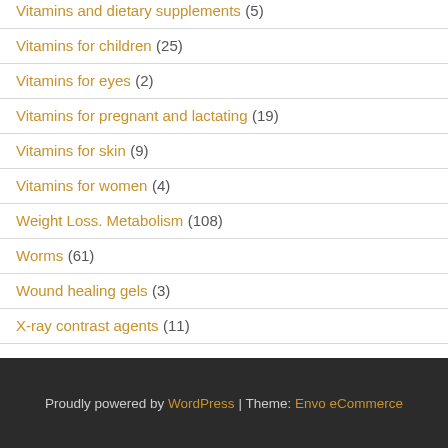Vitamins and dietary supplements (5)
Vitamins for children (25)
Vitamins for eyes (2)
Vitamins for pregnant and lactating (19)
Vitamins for skin (9)
Vitamins for women (4)
Weight Loss. Metabolism (108)
Worms (61)
Wound healing gels (3)
X-ray contrast agents (11)
Proudly powered by WordPress | Theme: Envo eCommerce